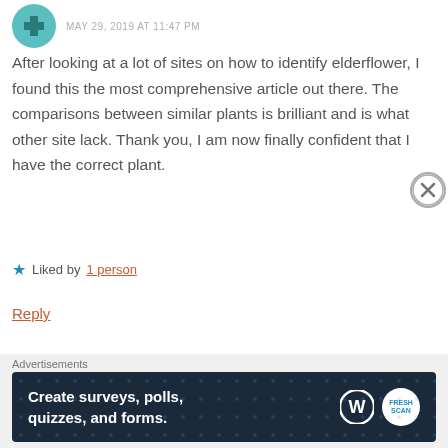MAY 29, 2019 AT 11:47 PM
After looking at a lot of sites on how to identify elderflower, I found this the most comprehensive article out there. The comparisons between similar plants is brilliant and is what other site lack. Thank you, I am now finally confident that I have the correct plant.
Liked by 1 person
Reply
jc @ The Irish Kitchen
MAY 30, 2019 AT 8:55 AM
Advertisements
Create surveys, polls, quizzes, and forms.